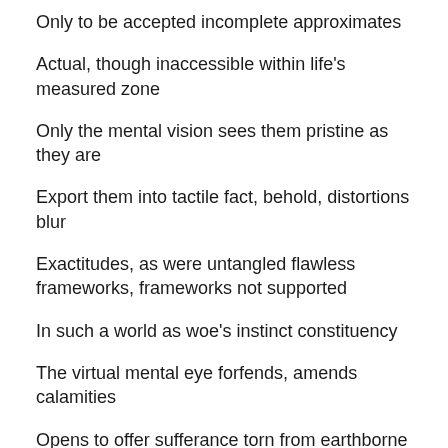Only to be accepted incomplete approximates
Actual, though inaccessible within life's measured zone
Only the mental vision sees them pristine as they are
Export them into tactile fact, behold, distortions blur
Exactitudes, as were untangled flawless frameworks, frameworks not supported
In such a world as woe's instinct constituency
The virtual mental eye forfends, amends calamities
Opens to offer sufferance torn from earthborne consternations